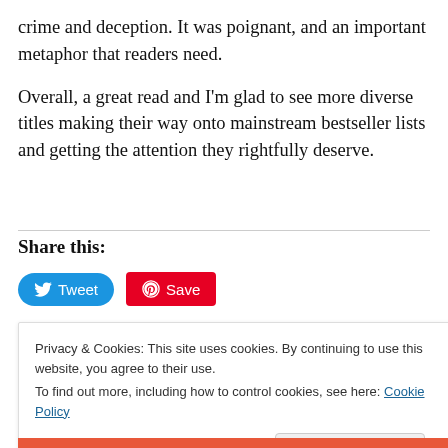crime and deception. It was poignant, and an important metaphor that readers need.
Overall, a great read and I'm glad to see more diverse titles making their way onto mainstream bestseller lists and getting the attention they rightfully deserve.
Share this:
[Figure (infographic): Social sharing buttons: Tweet (Twitter) and Save (Pinterest)]
Privacy & Cookies: This site uses cookies. By continuing to use this website, you agree to their use. To find out more, including how to control cookies, see here: Cookie Policy